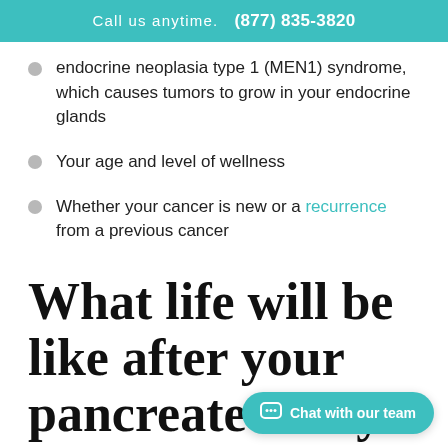Call us anytime.  (877) 835-3820
endocrine neoplasia type 1 (MEN1) syndrome, which causes tumors to grow in your endocrine glands
Your age and level of wellness
Whether your cancer is new or a recurrence from a previous cancer
What life will be like after your pancreatectomy
Depending on the extent of your tumor and whether